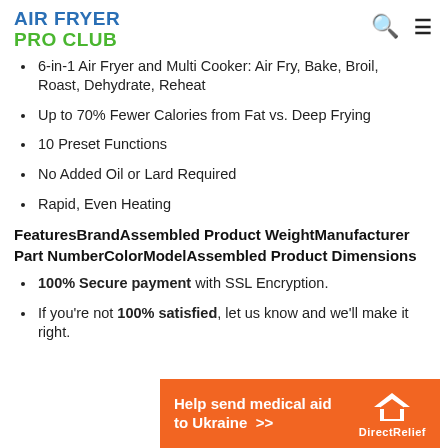AIR FRYER PRO CLUB
6-in-1 Air Fryer and Multi Cooker: Air Fry, Bake, Broil, Roast, Dehydrate, Reheat
Up to 70% Fewer Calories from Fat vs. Deep Frying
10 Preset Functions
No Added Oil or Lard Required
Rapid, Even Heating
FeaturesBrandAssembled Product WeightManufacturer Part NumberColorModelAssembled Product Dimensions
100% Secure payment with SSL Encryption.
If you're not 100% satisfied, let us know and we'll make it right.
[Figure (infographic): Orange DirectRelief banner: 'Help send medical aid to Ukraine >>']